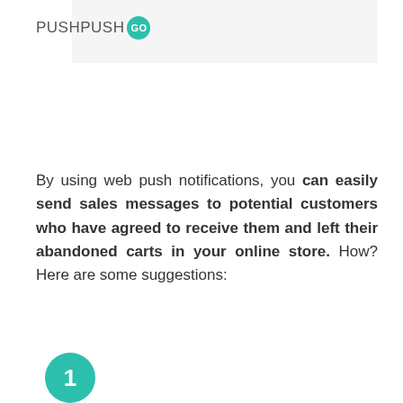[Figure (logo): PushPushGo logo with teal circular badge containing 'GO' text]
By using web push notifications, you can easily send sales messages to potential customers who have agreed to receive them and left their abandoned carts in your online store. How? Here are some suggestions: